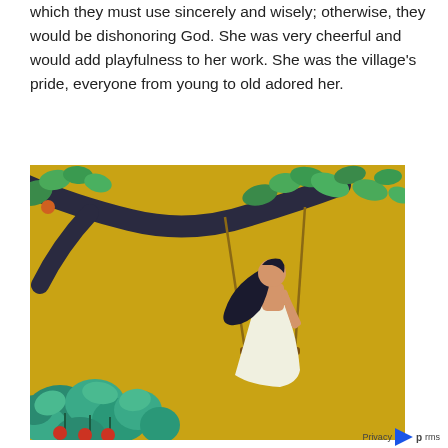which they must use sincerely and wisely; otherwise, they would be dishonoring God. She was very cheerful and would add playfulness to her work. She was the village's pride, everyone from young to old adored her.
[Figure (illustration): A flat-style illustration on a golden-yellow background showing a woman in a white dress with long dark hair swinging on a rope swing tied to a dark tree branch with green leaves. Teal bushes with red berries are in the lower left corner.]